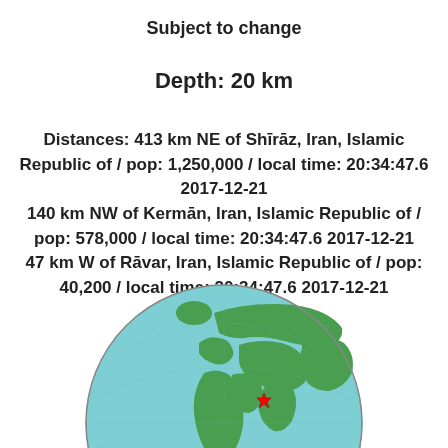Subject to change
Depth: 20 km
Distances: 413 km NE of Shīrāz, Iran, Islamic Republic of / pop: 1,250,000 / local time: 20:34:47.6 2017-12-21
140 km NW of Kermān, Iran, Islamic Republic of / pop: 578,000 / local time: 20:34:47.6 2017-12-21
47 km W of Rāvar, Iran, Islamic Republic of / pop: 40,200 / local time: 20:34:47.6 2017-12-21
[Figure (illustration): Globe showing Middle East / Iran region with a red star marker indicating earthquake epicenter near Rāvar, Iran]